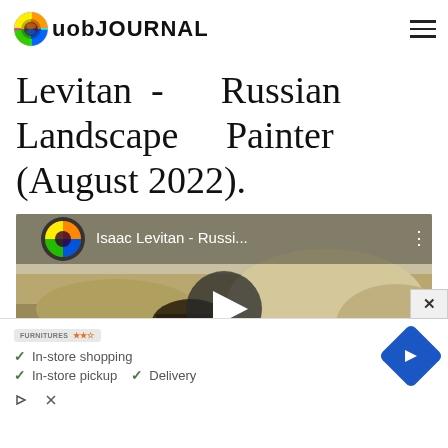uob JOURNAL
Levitan - Russian Landscape Painter (August 2022).
[Figure (screenshot): YouTube video thumbnail showing 'Isaac Levitan - Russi...' with a play button overlay, featuring a landscape painting background with rocky terrain]
[Figure (screenshot): Advertisement showing furniture store with checkmarks for 'In-store shopping', 'In-store pickup', 'Delivery', a blue navigation arrow icon, and close/skip buttons at the bottom]